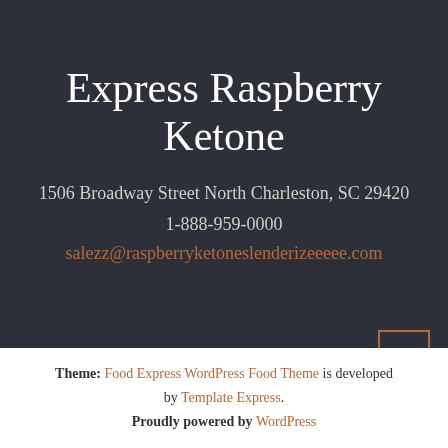Express Raspberry Ketone
1506 Broadway Street North Charleston, SC 29420
1-888-959-0000
salezz@raspberryketoneslenderizeeeee.com
Theme: Food Express WordPress Food Theme is developed by Template Express. Proudly powered by WordPress